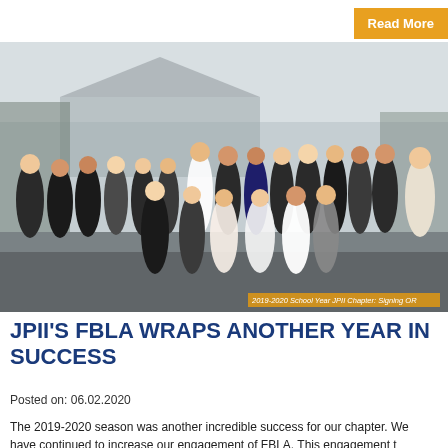Read More
[Figure (photo): Group photo of JPII FBLA chapter students and advisors posed outdoors on a foggy day, formally dressed in business attire. Caption: 2019-2020 School Year JPII Chapter: Spring OR]
2019-2020 School Year JPII Chapter: Signing OR
JPII'S FBLA WRAPS ANOTHER YEAR IN SUCCESS
Posted on: 06.02.2020
The 2019-2020 season was another incredible success for our chapter. We have continued to increase our engagement of FBLA. This engagement t…